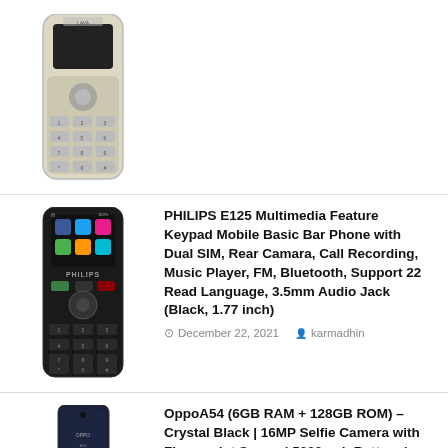[Figure (photo): Beige/champagne basic keypad mobile phone, top portion visible]
[Figure (photo): Black Philips E125 basic keypad mobile phone with colorful app icons on screen]
PHILIPS E125 Multimedia Feature Keypad Mobile Basic Bar Phone with Dual SIM, Rear Camara, Call Recording, Music Player, FM, Bluetooth, Support 22 Read Language, 3.5mm Audio Jack (Black, 1.77 inch)
December 22, 2021   karmadhin
[Figure (photo): OppoA54 smartphone in Crystal Black color, partial view]
OppoA54 (6GB RAM + 128GB ROM) – Crystal Black | 16MP Selfie Camera with Fingerprint Sensor| 5000mah Battery | 6.5' inch Disp...